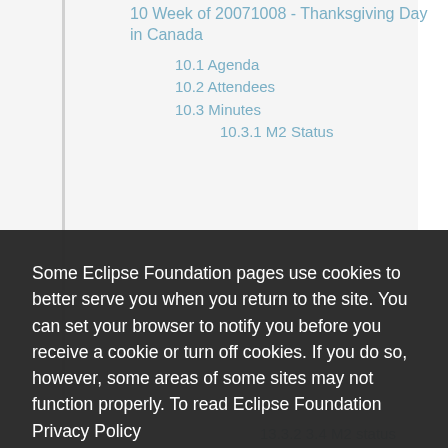10 Week of 20071008 - Thanksgiving Day in Canada
10.1 Agenda
10.2 Attendees
10.3 Minutes
10.3.1 M2 Status
Some Eclipse Foundation pages use cookies to better serve you when you return to the site. You can set your browser to notify you before you receive a cookie or turn off cookies. If you do so, however, some areas of some sites may not function properly. To read Eclipse Foundation Privacy Policy
click here.
Decline
Allow cookies
13.3.2 3.4 M2 status